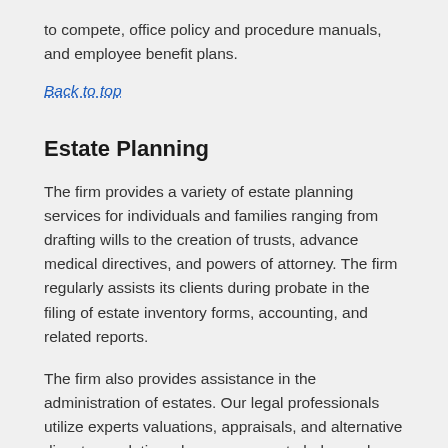to compete, office policy and procedure manuals, and employee benefit plans.
Back to top
Estate Planning
The firm provides a variety of estate planning services for individuals and families ranging from drafting wills to the creation of trusts, advance medical directives, and powers of attorney. The firm regularly assists its clients during probate in the filing of estate inventory forms, accounting, and related reports.
The firm also provides assistance in the administration of estates. Our legal professionals utilize experts valuations, appraisals, and alternative dispute resolution when necessary to help resolve disputes involving estates and property.